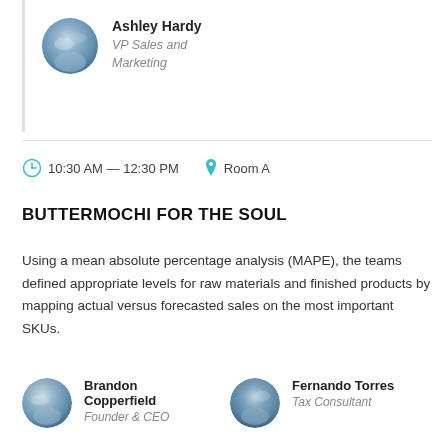[Figure (photo): Circular avatar photo of Ashley Hardy]
Ashley Hardy
VP Sales and Marketing
10:30 AM — 12:30 PM   Room A
BUTTERMOCHI FOR THE SOUL
Using a mean absolute percentage analysis (MAPE), the teams defined appropriate levels for raw materials and finished products by mapping actual versus forecasted sales on the most important SKUs.
[Figure (photo): Circular avatar photo of Brandon Copperfield]
Brandon Copperfield
Founder & CEO
[Figure (photo): Circular avatar photo of Fernando Torres]
Fernando Torres
Tax Consultant